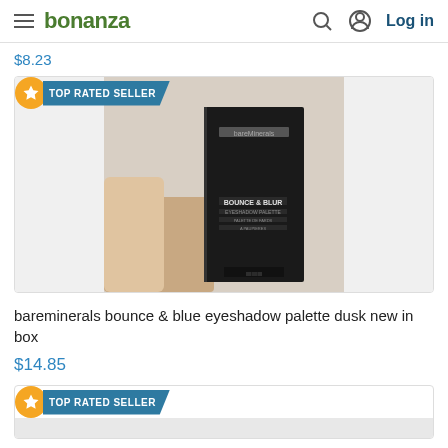bonanza | Log in
$8.23
[Figure (photo): Product photo of bareMinerals Bounce & Blur eyeshadow palette in black box, held by a hand, with TOP RATED SELLER badge]
bareminerals bounce & blue eyeshadow palette dusk new in box
$14.85
[Figure (photo): Second product listing with TOP RATED SELLER badge, partially visible]